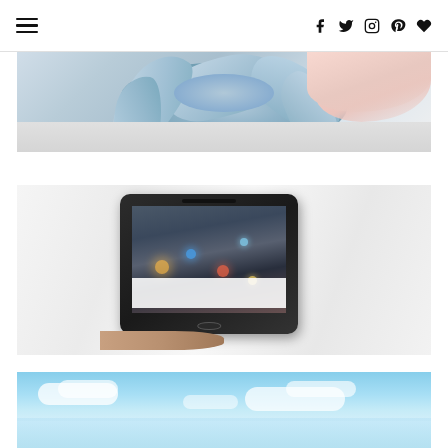Navigation header with hamburger menu and social icons (facebook, twitter, instagram, pinterest, heart/bloglovin)
[Figure (photo): Close-up photo of a blue-grey succulent plant with pink/flesh-colored background on the right side]
[Figure (photo): A hand holding a smartphone displaying an Instagram app with a night/bokeh photo, on a white bed/fabric background]
[Figure (photo): Partial view of a blue sky with clouds and mountains in the background]